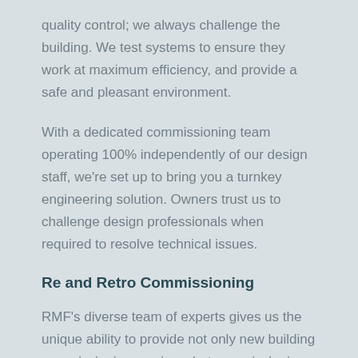quality control; we always challenge the building. We test systems to ensure they work at maximum efficiency, and provide a safe and pleasant environment.
With a dedicated commissioning team operating 100% independently of our design staff, we're set up to bring you a turnkey engineering solution. Owners trust us to challenge design professionals when required to resolve technical issues.
Re and Retro Commissioning
RMF’s diverse team of experts gives us the unique ability to provide not only new building commissioning services, but commissioning for existing buildings as well. Whether a building that